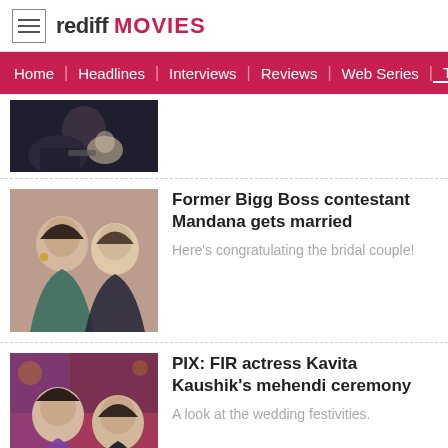rediff MOVIES
Home | Headlines | Interviews | Reviews | Web Series | Tel...
[Figure (photo): Partial thumbnail of a person holding a baby, dark clothing]
[Figure (photo): A couple posing together — woman with dark hair and a man]
Former Bigg Boss contestant Mandana gets married
Here's congratulating the bridal couple!
[Figure (photo): Two people at a celebration — woman in purple/red saree and a man in dark jacket]
PIX: FIR actress Kavita Kaushik's mehendi ceremony
A look at the wedding festivities.